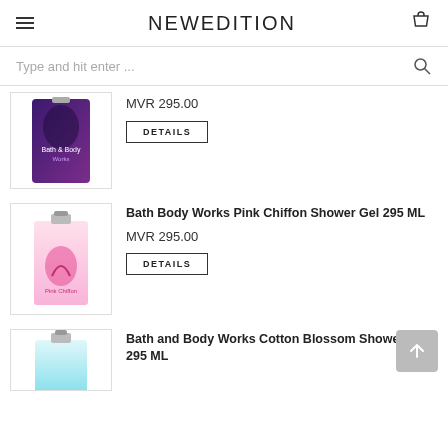NEWEDITION
Type and hit enter ...
MVR 295.00
DETAILS
Bath Body Works Pink Chiffon Shower Gel 295 ML
MVR 295.00
DETAILS
Bath and Body Works Cotton Blossom Shower Gel 295 ML